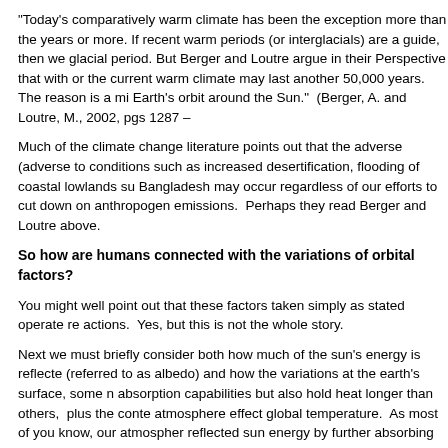“Today’s comparatively warm climate has been the exception more than the years or more. If recent warm periods (or interglacials) are a guide, then we glacial period. But Berger and Loutre argue in their Perspective that with or the current warm climate may last another 50,000 years. The reason is a mi Earth’s orbit around the Sun.”  (Berger, A. and Loutre, M., 2002, pgs 1287 –
Much of the climate change literature points out that the adverse (adverse to conditions such as increased desertification, flooding of coastal lowlands su Bangladesh may occur regardless of our efforts to cut down on anthropogen emissions.  Perhaps they read Berger and Loutre above.
So how are humans connected with the variations of orbital factors?
You might well point out that these factors taken simply as stated operate re actions.  Yes, but this is not the whole story.
Next we must briefly consider both how much of the sun’s energy is reflecte (referred to as albedo) and how the variations at the earth’s surface, some n absorption capabilities but also hold heat longer than others,  plus the conte atmosphere effect global temperature.  As most of you know, our atmospher reflected sun energy by further absorbing and reflecting back heat.  We have effect.  Without this property, the earth’s temperature would be perhaps 30 c know it would not be possible.  Our scientists, armed with sensitive instrume heat energy absorptive properties of the atmospheric gasses, aerosols, and particulates from diesel and coal fuels.  Climate sceptics like to point out tha